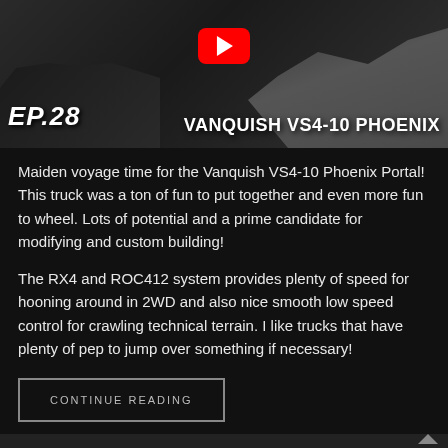[Figure (screenshot): YouTube video thumbnail for Episode 28 featuring Vanquish VS4-10 Phoenix RC truck on rocky terrain, with YouTube play button icon, text 'EP.28' and 'VANQUISH VS4-10 PHOENIX']
Maiden voyage time for the Vanquish VS4-10 Phoenix Portal! This truck was a ton of fun to put together and even more fun to wheel. Lots of potential and a prime candidate for modifying and custom building!
The RX4 and ROC412 system provides plenty of speed for hooning around in 2WD and also nice smooth low speed control for crawling technical terrain. I like trucks that have plenty of pep to jump over something if necessary!
CONTINUE READING